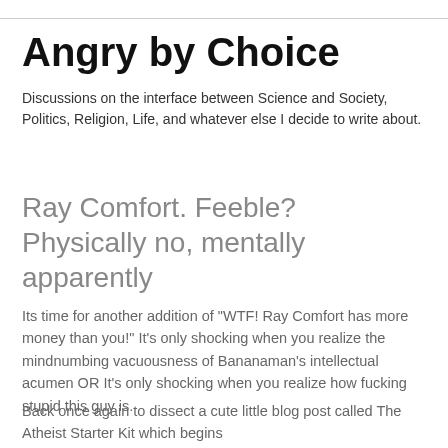Angry by Choice
Discussions on the interface between Science and Society, Politics, Religion, Life, and whatever else I decide to write about.
Ray Comfort. Feeble? Physically no, mentally apparently
Its time for another addition of "WTF! Ray Comfort has more money than you!" It's only shocking when you realize the mindnumbing vacuousness of Bananaman's intellectual acumen OR It's only shocking when you realize how fucking stupid this guy is.
Back once again to dissect a cute little blog post called The Atheist Starter Kit which begins